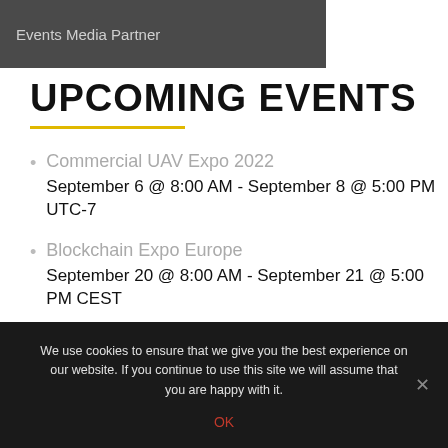[Figure (photo): Dark banner image with text 'Events Media Partner']
UPCOMING EVENTS
Commercial UAV Expo 2022
September 6 @ 8:00 AM - September 8 @ 5:00 PM UTC-7
Blockchain Expo Europe
September 20 @ 8:00 AM - September 21 @ 5:00 PM CEST
We use cookies to ensure that we give you the best experience on our website. If you continue to use this site we will assume that you are happy with it.
OK